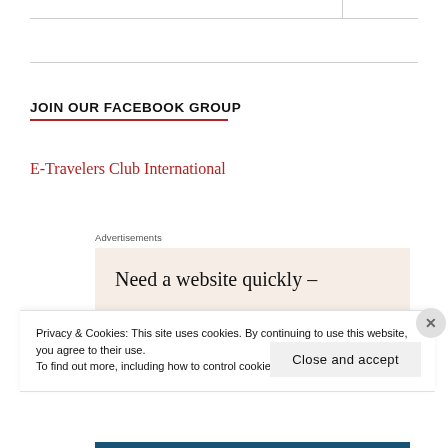JOIN OUR FACEBOOK GROUP
E-Travelers Club International
Advertisements
[Figure (other): Advertisement banner with text 'Need a website quickly –' on a light beige/salmon background]
Privacy & Cookies: This site uses cookies. By continuing to use this website, you agree to their use.
To find out more, including how to control cookies, see here: Cookie Policy
Close and accept